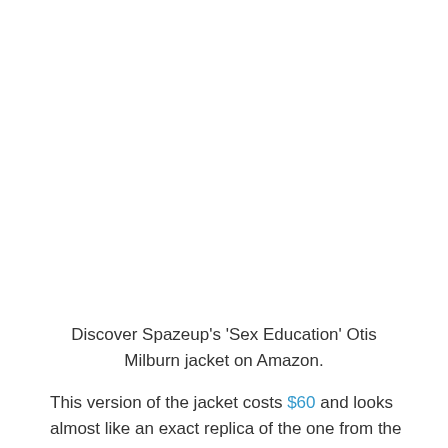Discover Spazeup's 'Sex Education' Otis Milburn jacket on Amazon.
This version of the jacket costs $60 and looks almost like an exact replica of the one from the show. It's available in sizes ranging